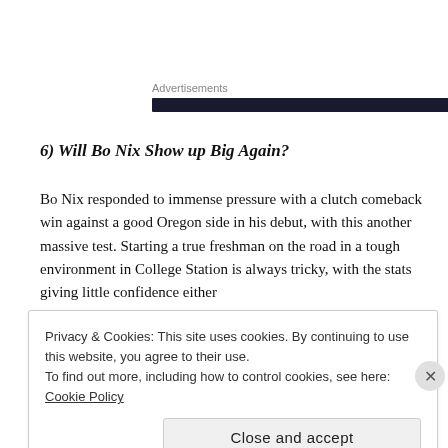Advertisements
6) Will Bo Nix Show up Big Again?
Bo Nix responded to immense pressure with a clutch comeback win against a good Oregon side in his debut, with this another massive test. Starting a true freshman on the road in a tough environment in College Station is always tricky, with the stats giving little confidence either
Privacy & Cookies: This site uses cookies. By continuing to use this website, you agree to their use.
To find out more, including how to control cookies, see here: Cookie Policy
Close and accept